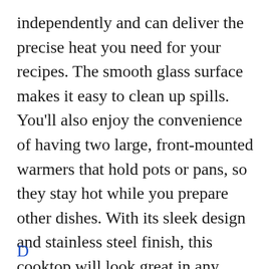independently and can deliver the precise heat you need for your recipes. The smooth glass surface makes it easy to clean up spills. You'll also enjoy the convenience of having two large, front-mounted warmers that hold pots or pans, so they stay hot while you prepare other dishes. With its sleek design and stainless steel finish, this cooktop will look great in any kitchen!!
D